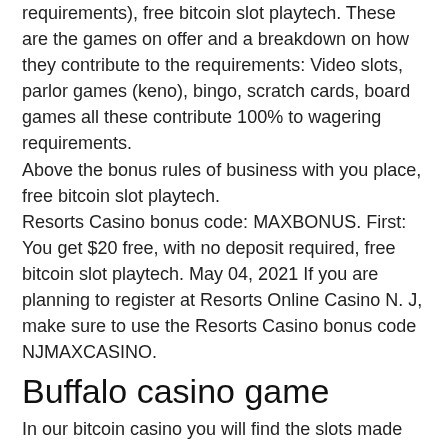requirements), free bitcoin slot playtech. These are the games on offer and a breakdown on how they contribute to the requirements: Video slots, parlor games (keno), bingo, scratch cards, board games all these contribute 100% to wagering requirements.
Above the bonus rules of business with you place, free bitcoin slot playtech.
Resorts Casino bonus code: MAXBONUS. First: You get $20 free, with no deposit required, free bitcoin slot playtech. May 04, 2021 If you are planning to register at Resorts Online Casino N. J, make sure to use the Resorts Casino bonus code NJMAXCASINO.
Buffalo casino game
In our bitcoin casino you will find the slots made by the following producers: playtech, novomatic, igt, egt, netent, amatic. Amc theatre's ceo clarifius bitcoin casino playtech